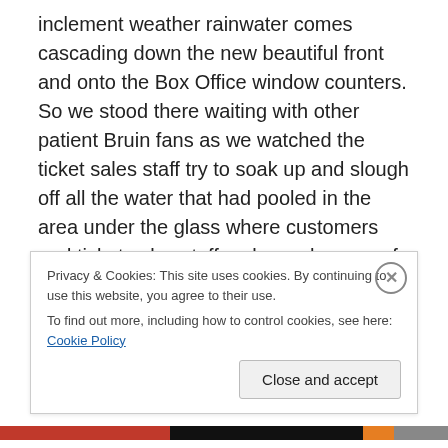inclement weather rainwater comes cascading down the new beautiful front and onto the Box Office window counters. So we stood there waiting with other patient Bruin fans as we watched the ticket sales staff try to soak up and slough off all the water that had pooled in the area under the glass where customers and ticket sales staff make exchanges of tickets for cash. Sooooo much water was being swooshed out of that pooled area and sloughed off the counters all while trying not to get the waiting customers in line wet in the process. Steve and I were shocked that better planning had not happened. That's the
Privacy & Cookies: This site uses cookies. By continuing to use this website, you agree to their use.
To find out more, including how to control cookies, see here: Cookie Policy
Close and accept